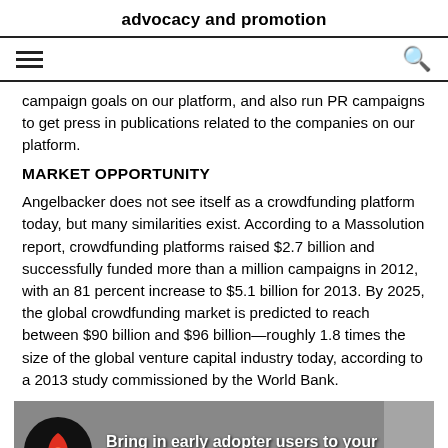advocacy and promotion
campaign goals on our platform, and also run PR campaigns to get press in publications related to the companies on our platform.
MARKET OPPORTUNITY
Angelbacker does not see itself as a crowdfunding platform today, but many similarities exist. According to a Massolution report, crowdfunding platforms raised $2.7 billion and successfully funded more than a million campaigns in 2012, with an 81 percent increase to $5.1 billion for 2013. By 2025, the global crowdfunding market is predicted to reach between $90 billion and $96 billion—roughly 1.8 times the size of the global venture capital industry today, according to a 2013 study commissioned by the World Bank.
[Figure (screenshot): Video thumbnail showing a rocket logo and text 'Bring in early adopter users to your startup or' with a browser address bar at the bottom]